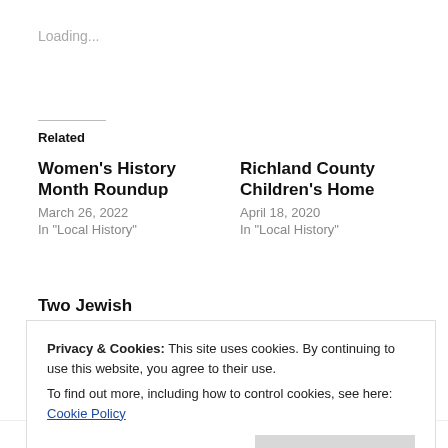Loading...
Related
Women's History Month Roundup
March 26, 2022
In "Local History"
Richland County Children's Home
April 18, 2020
In "Local History"
Two Jewish Congregations Become One
December 4, 2021
Privacy & Cookies: This site uses cookies. By continuing to use this website, you agree to their use.
To find out more, including how to control cookies, see here: Cookie Policy
Close and accept
An American Girl, California, Dr. Hugh T. Anderson,